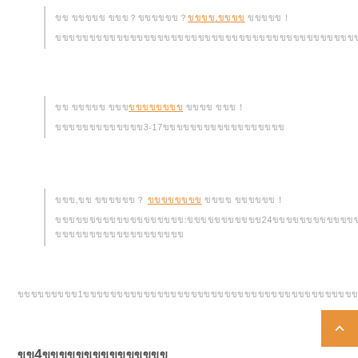ขข ขขขขข ขขข？ขขขขขข？ขขขข,ขขขข ขขขขข！
ขขขขขขขขขขขขขขขขขขขขขขขขขขขขขขขขขขขขขขขขขขขขขขขขขขขข
ขข ขขขขข ขขขขขขขขข ขขขข ขขข！
ขขขขขขขขขขขขข3-17ขขขขขขขขขขขขขขขขขข
ขขข,ขข ขขขขขข？ขขขขขขขข ขขขข ขขขขขข！
ขขขขขขขขขขขขขขขขขขข:ขขขขขขขขขขข24ขขขขขขขขขขขขขขขขขขขขขขขขขข
ขขขขขขข1ขขขขขขขขขขขขขขขขขขขขขขขขขขขขขขขขขขขขขขขขขขขขขขขขขขขขขขขขขขขขขขขขขขขขขขขขขขขขขขขขขขขขขขขขขขขขขขขขขขขขขขขขขขขขขขขขขขขขขขขขขขขขขขขขขขขขขขขขขขขขขขขขข
ขข4ขขขขขขขขขขขขขขข